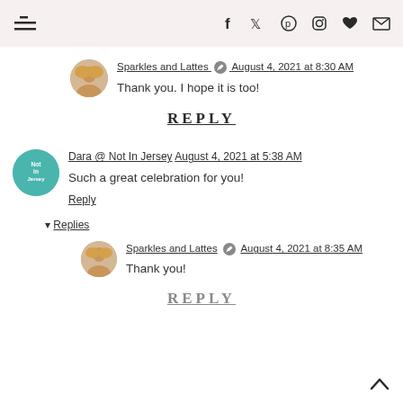Navigation bar with hamburger menu and social icons
Sparkles and Lattes August 4, 2021 at 8:30 AM
Thank you. I hope it is too!
REPLY
Dara @ Not In Jersey August 4, 2021 at 5:38 AM
Such a great celebration for you!
Reply
▾ Replies
Sparkles and Lattes August 4, 2021 at 8:35 AM
Thank you!
REPLY